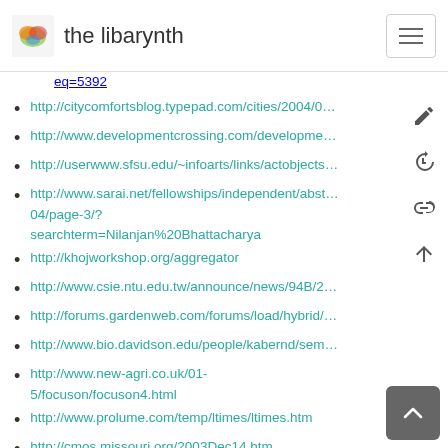the libarynth
eq=5392
http://citycomfortsblog.typepad.com/cities/2004/0…
http://www.developmentcrossing.com/developme…
http://userwww.sfsu.edu/~infoarts/links/actobjects…
http://www.sarai.net/fellowships/independent/abst… 04/page-3/?searchterm=Nilanjan%20Bhattacharya
http://khojworkshop.org/aggregator
http://www.csie.ntu.edu.tw/announce/news/94B/2…
http://forums.gardenweb.com/forums/load/hybrid/…
http://www.bio.davidson.edu/people/kabernd/sem…
http://www.new-agri.co.uk/01-5/focuson/focuson4.html
http://www.prolume.com/temp/ltimes/ltimes.htm
http://cmos.missouri.org/2003Dec14.htm
http://www.prolume.com/temp/nyt/patents.htm
http://www.prolume.com/temp/cnn/cnn1.htm
http://desertification.wordpress.com/2007/12/12/p…